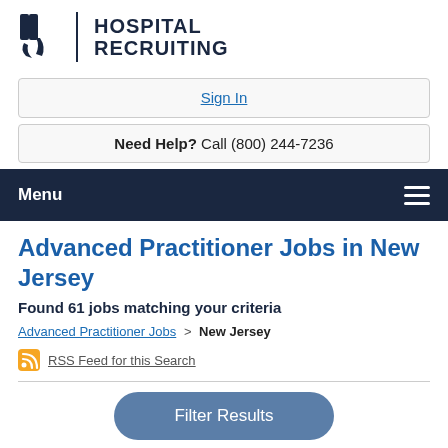[Figure (logo): Hospital Recruiting logo with stylized H icon and text HOSPITAL RECRUITING]
Sign In
Need Help? Call (800) 244-7236
Menu
Advanced Practitioner Jobs in New Jersey
Found 61 jobs matching your criteria
Advanced Practitioner Jobs > New Jersey
RSS Feed for this Search
Filter Results